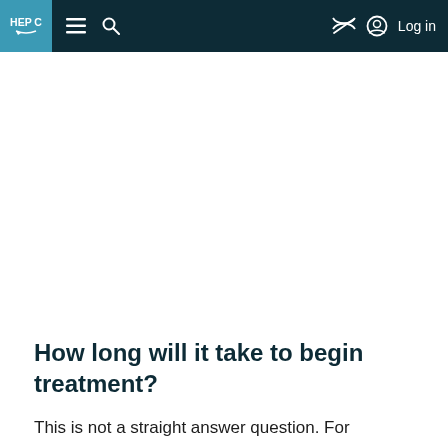HEP C [navigation bar with menu, search, accessibility, and Log in]
How long will it take to begin treatment?
This is not a straight answer question. For